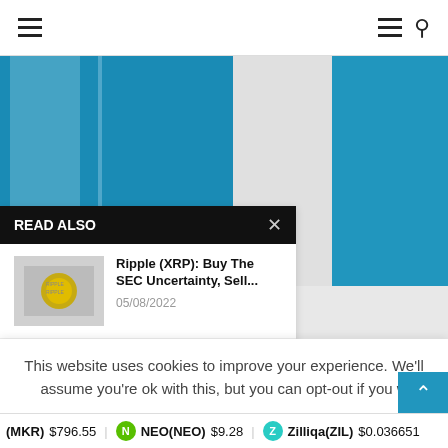Navigation bar with hamburger menu and search icon
[Figure (photo): Blue background image strip - appears to be a book or document with blue covers]
READ ALSO
[Figure (photo): Thumbnail image of Ripple coin/logo on white background]
Ripple (XRP): Buy The SEC Uncertainty, Sell...
05/08/2022
[Figure (photo): Thumbnail image of Bitcoin coin held by a person in suit with red tie]
Top 3 Price Prediction Bitcoin, Ethereum, Ripple:
This website uses cookies to improve your experience. We'll assume you're ok with this, but you can opt-out if you w
(MKR) $796.55  NEO(NEO) $9.28  Zilliqa(ZIL) $0.036651